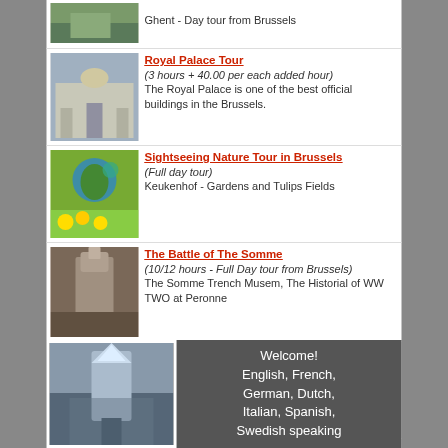Ghent - Day tour from Brussels
Royal Palace Tour
(3 hours + 40.00 per each added hour)
The Royal Palace is one of the best official buildings in the Brussels.
Sightseeing Nature Tour in Brussels
(Full day tour)
Keukenhof - Gardens and Tulips Fields
The Battle of The Somme
(10/12 hours - Full Day tour from Brussels)
The Somme Trench Musem, The Historial of WW TWO at Peronne
The Classical Tour.
(3 hours)
Brussels. The Classical Tour. The Town Hall. Manneken-PIS
The Medieval Castles Tour
(10 / 12 hours)
The River Meuse - Furnished Medieval Castles Tour
Tour in Belgian Ardennes
(1 or 2 days (each 12 hours))
Namur, Dinant, Bouillon, Orval, Han, La Roche, Spa, Liege...
Welcome!
English, French, German, Dutch, Italian, Spanish, Swedish speaking